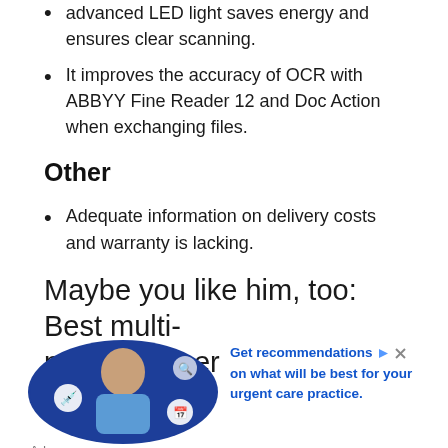advanced LED light saves energy and ensures clear scanning.
It improves the accuracy of OCR with ABBYY Fine Reader 12 and Doc Action when exchanging files.
Other
Adequate information on delivery costs and warranty is lacking.
Maybe you like him, too: Best multi-page scanner
[Figure (photo): Advertisement showing a woman in medical attire with a blue circular background and medical icons, alongside ad text about getting recommendations for urgent care practice.]
Ad